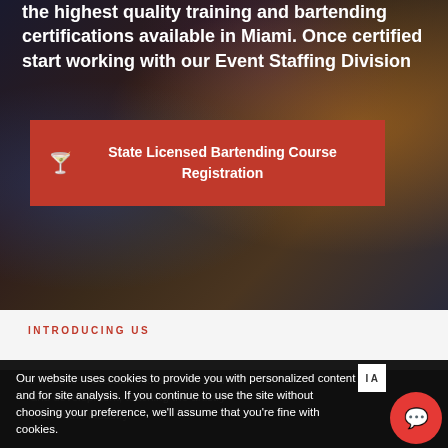the highest quality training and bartending certifications available in Miami. Once certified start working with our Event Staffing Division
[Figure (photo): Dark background photo of a bar setting with colorful painted artwork and bottles visible]
State Licensed Bartending Course Registration
INTRODUCING US
Not Just a Bartending School More Like an Institute
Our website uses cookies to provide you with personalized content and for site analysis. If you continue to use the site without choosing your preference, we'll assume that you're fine with cookies.
We are 110% dedicated to bartender training and development, teaching the artistry and craft of the industry.